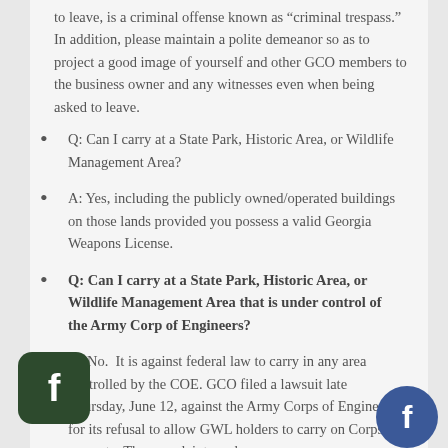to leave, is a criminal offense known as “criminal trespass.” In addition, please maintain a polite demeanor so as to project a good image of yourself and other GCO members to the business owner and any witnesses even when being asked to leave.
Q: Can I carry at a State Park, Historic Area, or Wildlife Management Area?
A: Yes, including the publicly owned/operated buildings on those lands provided you possess a valid Georgia Weapons License.
Q: Can I carry at a State Park, Historic Area, or Wildlife Management Area that is under control of the Army Corp of Engineers?
A: No. It is against federal law to carry in any area controlled by the COE. GCO filed a lawsuit late Thursday, June 12, against the Army Corps of Engineers for its refusal to allow GWL holders to carry on Corps property. The complaint can be